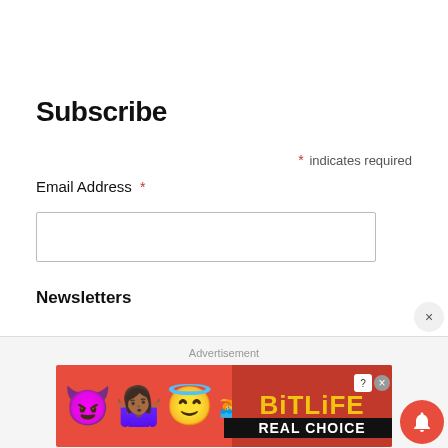Subscribe
* indicates required
Email Address *
Newsletters
Advertisement
[Figure (screenshot): BitLife advertisement banner with emojis (devil, woman, angel) and text 'BitLife REAL CHOICES' on red background]